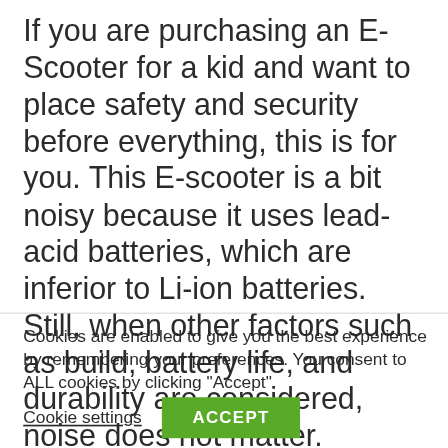If you are purchasing an E-Scooter for a kid and want to place safety and security before everything, this is for you. This E-scooter is a bit noisy because it uses lead-acid batteries, which are inferior to Li-ion batteries. Still, when other factors such as build, battery life, and durability are considered, noise does not matter. Besides, the lead-acid battery still delivers a run time of 80 minutes, which
Cookies are enabled to give you the best experience by remembering your preferences. You consent to ALL cookies by clicking "Accept".
Cookie settings
ACCEPT